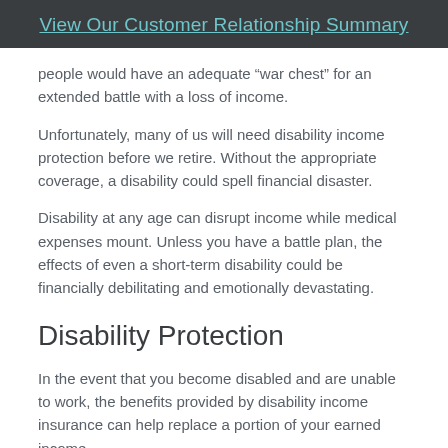View Our Customer Relationship Summary
people would have an adequate “war chest” for an extended battle with a loss of income.
Unfortunately, many of us will need disability income protection before we retire. Without the appropriate coverage, a disability could spell financial disaster.
Disability at any age can disrupt income while medical expenses mount. Unless you have a battle plan, the effects of even a short-term disability could be financially debilitating and emotionally devastating.
Disability Protection
In the event that you become disabled and are unable to work, the benefits provided by disability income insurance can help replace a portion of your earned income.